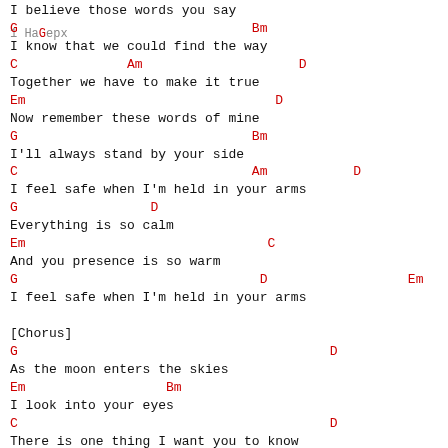I believe those words you say
1 Назерх
G                              Bm
I know that we could find the way
C              Am                    D
Together we have to make it true
Em                                D
Now remember these words of mine
G                              Bm
I'll always stand by your side
C                              Am           D
I feel safe when I'm held in your arms
G                 D
Everything is so calm
Em                               C
And you presence is so warm
G                               D                  Em
I feel safe when I'm held in your arms
[Chorus]
G                                        D
As the moon enters the skies
Em                  Bm
I look into your eyes
C                                        D
There is one thing I want you to know
G                  D                  Em              Bm
If I were you king would you be my queen
C                         Am         D                        B
Together we could stand, united, hand in hand
Em                  C                    G                         B